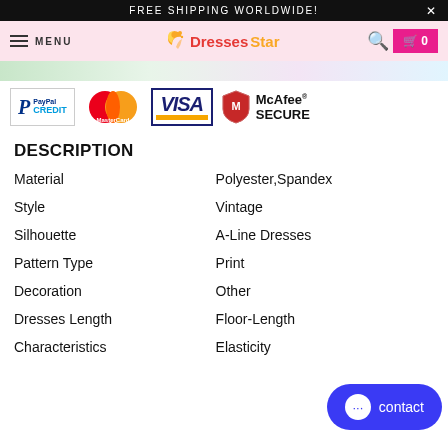FREE SHIPPING WORLDWIDE!
[Figure (screenshot): Website navigation bar with DressesStar logo, MENU, search icon, and cart with 0 items on pink background]
[Figure (logo): Payment method logos: PayPal Credit, MasterCard, VISA, McAfee SECURE]
DESCRIPTION
| Attribute | Value |
| --- | --- |
| Material | Polyester,Spandex |
| Style | Vintage |
| Silhouette | A-Line Dresses |
| Pattern Type | Print |
| Decoration | Other |
| Dresses Length | Floor-Length |
| Characteristics | Elasticity |